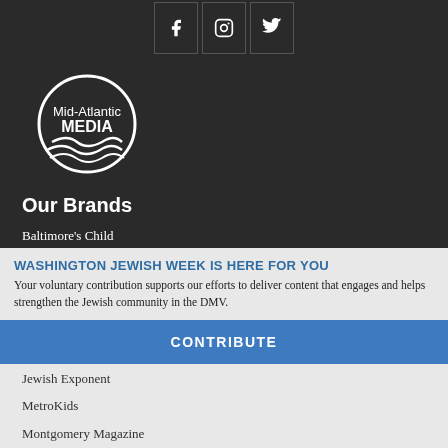[Figure (other): Social media icons: Facebook, Instagram, Twitter in bordered boxes]
[Figure (logo): Mid-Atlantic MEDIA logo — white circle with wave design and text]
Our Brands
Baltimore's Child
Baltimore Fishbowl
Baltimore Magazine
Consulting / Services
Frederick's Child
WASHINGTON JEWISH WEEK IS HERE FOR YOU
Your voluntary contribution supports our efforts to deliver content that engages and helps strengthen the Jewish community in the DMV.
CONTRIBUTE
Jewish Exponent
MetroKids
Montgomery Magazine